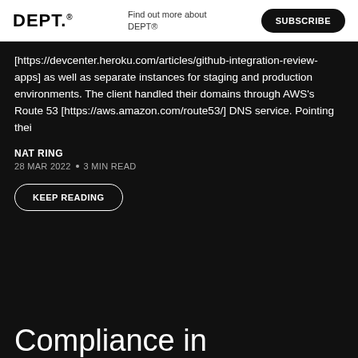DEPT. | Find out more about DEPT® | SUBSCRIBE
[https://devcenter.heroku.com/articles/github-integration-review-apps] as well as separate instances for staging and production environments. The client handled their domains through AWS's Route 53 [https://aws.amazon.com/route53/] DNS service. Pointing thei
NAT RING
28 MAR 2022 · 3 MIN READ
KEEP READING
Compliance in